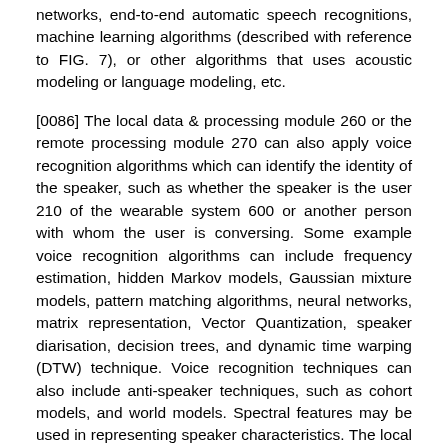networks, end-to-end automatic speech recognitions, machine learning algorithms (described with reference to FIG. 7), or other algorithms that uses acoustic modeling or language modeling, etc.
[0086] The local data & processing module 260 or the remote processing module 270 can also apply voice recognition algorithms which can identify the identity of the speaker, such as whether the speaker is the user 210 of the wearable system 600 or another person with whom the user is conversing. Some example voice recognition algorithms can include frequency estimation, hidden Markov models, Gaussian mixture models, pattern matching algorithms, neural networks, matrix representation, Vector Quantization, speaker diarisation, decision trees, and dynamic time warping (DTW) technique. Voice recognition techniques can also include anti-speaker techniques, such as cohort models, and world models. Spectral features may be used in representing speaker characteristics. The local data & processing module or